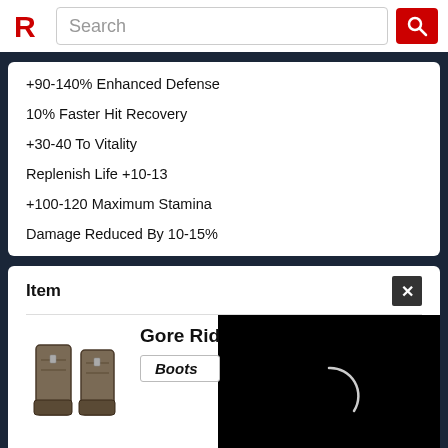Search bar with R logo
+90-140% Enhanced Defense
10% Faster Hit Recovery
+30-40 To Vitality
Replenish Life +10-13
+100-120 Maximum Stamina
Damage Reduced By 10-15%
Item
Gore Rider
Boots
+160-200% Enhanced Defense
30% Faster Run/Walk
10% Chance Of Open Wounds